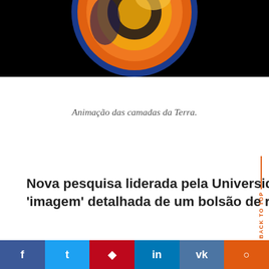[Figure (illustration): Animation showing cross-section layers of the Earth with glowing orange, red, and yellow layers against a black background]
Animação das camadas da Terra.
Nova pesquisa liderada pela Universidade de Cambridge é a primeira a obter uma 'imagem' detalhada de um bolsão de rocha incomum na...